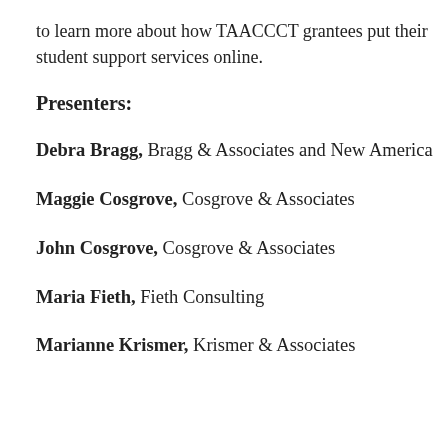to learn more about how TAACCCT grantees put their student support services online.
Presenters:
Debra Bragg, Bragg & Associates and New America
Maggie Cosgrove, Cosgrove & Associates
John Cosgrove, Cosgrove & Associates
Maria Fieth, Fieth Consulting
Marianne Krismer, Krismer & Associates